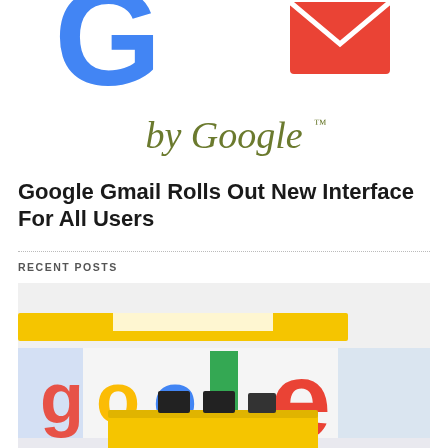[Figure (logo): Gmail by Google logo — partial view showing large 'G' letter in Google colors and Gmail envelope icon, with 'by Google' text below in olive/dark green serif font]
Google Gmail Rolls Out New Interface For All Users
RECENT POSTS
[Figure (photo): Photo of a Google office interior featuring large colorful 3D Google logo letters on the wall, bright reception area with yellow ceiling accents, white floor, and a yellow reception desk.]